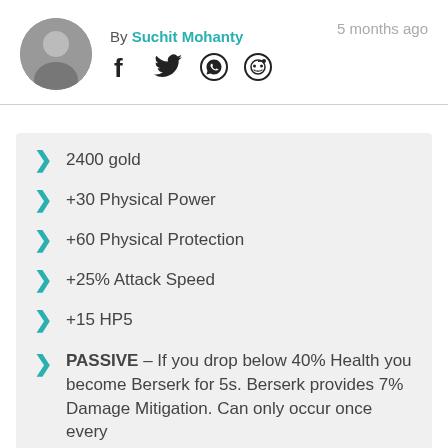[Figure (photo): Circular avatar photo of the author in grayscale]
By Suchit Mohanty
5 months ago
[Figure (infographic): Social media share icons: Facebook, Twitter, WhatsApp, Reddit]
2400 gold
+30 Physical Power
+60 Physical Protection
+25% Attack Speed
+15 HP5
PASSIVE – If you drop below 40% Health you become Berserk for 5s. Berserk provides 7% Damage Mitigation. Can only occur once every